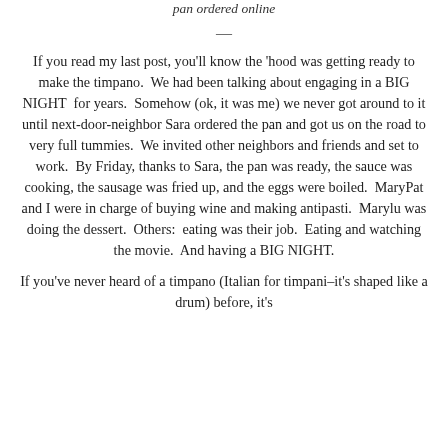pan ordered online
—
If you read my last post, you'll know the 'hood was getting ready to make the timpano.  We had been talking about engaging in a BIG NIGHT  for years.  Somehow (ok, it was me) we never got around to it until next-door-neighbor Sara ordered the pan and got us on the road to very full tummies.  We invited other neighbors and friends and set to work.  By Friday, thanks to Sara, the pan was ready, the sauce was cooking, the sausage was fried up, and the eggs were boiled.  MaryPat and I were in charge of buying wine and making antipasti.  Marylu was doing the dessert.  Others:  eating was their job.  Eating and watching the movie.  And having a BIG NIGHT.
If you've never heard of a timpano (Italian for timpani–it's shaped like a drum) before, it's